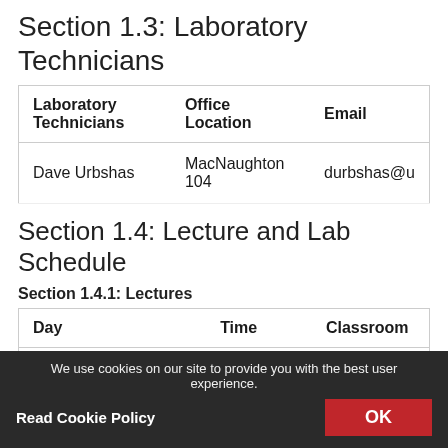Section 1.3: Laboratory Technicians
| Laboratory Technicians | Office Location | Email |
| --- | --- | --- |
| Dave Urbshas | MacNaughton 104 | durbshas@u |
Section 1.4: Lecture and Lab Schedule
Section 1.4.1: Lectures
| Day | Time | Classroom |
| --- | --- | --- |
| Monday-Wednesday-Friday | 10:30 – 11:20 | Alexander (A |
Section 1.4.2: Labs
| Day | Section | Time | Classroom |
| --- | --- | --- | --- |
We use cookies on our site to provide you with the best user experience. Read Cookie Policy OK